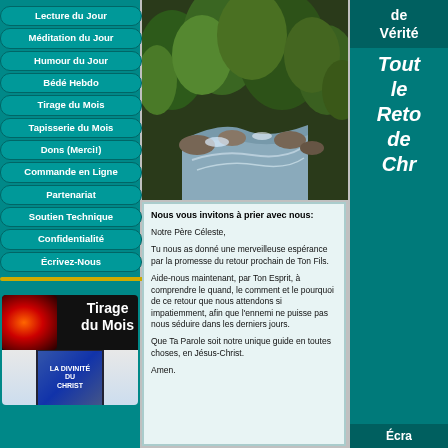Lecture du Jour
Méditation du Jour
Humour du Jour
Bédé Hebdo
Tirage du Mois
Tapisserie du Mois
Dons (Merci!)
Commande en Ligne
Partenariat
Soutien Technique
Confidentialité
Écrivez-Nous
[Figure (photo): Photo of a mountain river with rushing water over rocks, surrounded by green trees and vegetation]
de Vérité
Tout le Retour de Chr
Écra
Nous vous invitons à prier avec nous:
Notre Père Céleste,
Tu nous as donné une merveilleuse espérance par la promesse du retour prochain de Ton Fils.
Aide-nous maintenant, par Ton Esprit, à comprendre le quand, le comment et le pourquoi de ce retour que nous attendons si impatiemment, afin que l'ennemi ne puisse pas nous séduire dans les derniers jours.
Que Ta Parole soit notre unique guide en toutes choses, en Jésus-Christ.
Amen.
[Figure (illustration): Tirage du Mois banner with fireworks and book cover for LA DIVINITE DU CHRIST]